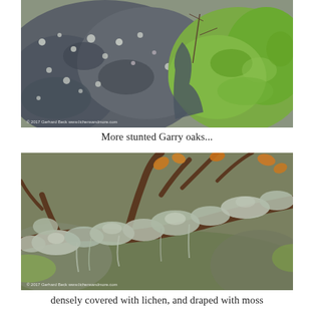[Figure (photo): Close-up photograph of rocky surface with grey lichen-covered rocks on the left and bright green moss on the right, with some dried plant material visible. Watermark: © 2017 Gerhard Beck www.lichensandmore.com]
More stunted Garry oaks...
[Figure (photo): Close-up photograph of lichen-draped oak branches with grey-green foliose and fruticose lichens covering twisted branches. Some orange-tan dried leaves or structures visible at the top. Watermark: © 2017 Gerhard Beck www.lichensandmore.com]
densely covered with lichen, and draped with moss